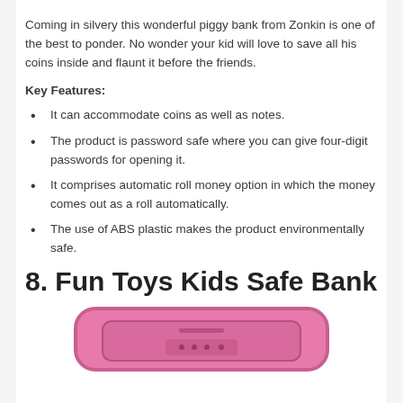Coming in silvery this wonderful piggy bank from Zonkin is one of the best to ponder. No wonder your kid will love to save all his coins inside and flaunt it before the friends.
Key Features:
It can accommodate coins as well as notes.
The product is password safe where you can give four-digit passwords for opening it.
It comprises automatic roll money option in which the money comes out as a roll automatically.
The use of ABS plastic makes the product environmentally safe.
8. Fun Toys Kids Safe Bank
[Figure (photo): Pink piggy bank / kids safe bank shown from the top, partially cropped at the bottom of the page.]